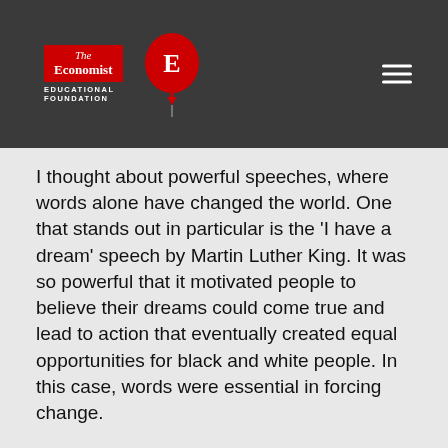[Figure (logo): The Economist Educational Foundation header with red logo box, red balloon with E, and hamburger menu icon on dark grey background]
I thought about powerful speeches, where words alone have changed the world. One that stands out in particular is the 'I have a dream' speech by Martin Luther King. It was so powerful that it motivated people to believe their dreams could come true and lead to action that eventually created equal opportunities for black and white people. In this case, words were essential in forcing change.
I then thought about Aung San Suu Kyi. She also had powerful words- so powerful in fact that she won an award. However, these words